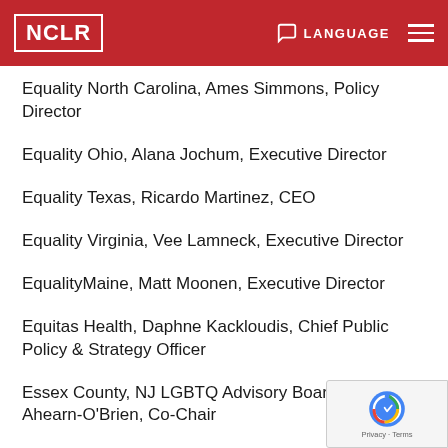NCLR | LANGUAGE
Equality North Carolina, Ames Simmons, Policy Director
Equality Ohio, Alana Jochum, Executive Director
Equality Texas, Ricardo Martinez, CEO
Equality Virginia, Vee Lamneck, Executive Director
EqualityMaine, Matt Moonen, Executive Director
Equitas Health, Daphne Kackloudis, Chief Public Policy & Strategy Officer
Essex County, NJ LGBTQ Advisory Board, Kathy Ahearn-O'Brien, Co-Chair
Fair Wisconsin, Megin McDonell, Executive Director